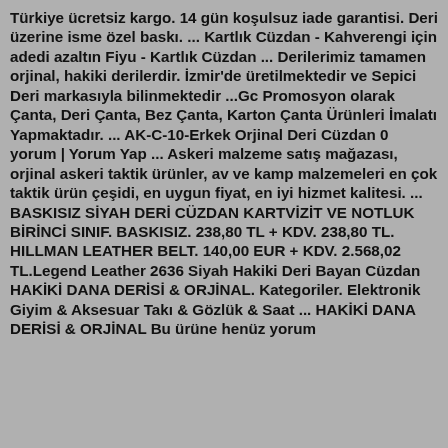Türkiye ücretsiz kargo. 14 gün koşulsuz iade garantisi. Deri üzerine isme özel baskı. ... Kartlık Cüzdan - Kahverengi için adedi azaltın Fiyu - Kartlık Cüzdan ... Derilerimiz tamamen orjinal, hakiki derilerdir. İzmir'de üretilmektedir ve Sepici Deri markasıyla bilinmektedir ...Gc Promosyon olarak Çanta, Deri Çanta, Bez Çanta, Karton Çanta Ürünleri İmalatı Yapmaktadır. ... AK-C-10-Erkek Orjinal Deri Cüzdan 0 yorum | Yorum Yap ... Askeri malzeme satış mağazası, orjinal askeri taktik ürünler, av ve kamp malzemeleri en çok taktik ürün çeşidi, en uygun fiyat, en iyi hizmet kalitesi. ... BASKISIZ SİYAH DERİ CÜZDAN KARTVİZİT VE NOTLUK BİRİNCİ SINIF. BASKISIZ. 238,80 TL + KDV. 238,80 TL. HILLMAN LEATHER BELT. 140,00 EUR + KDV. 2.568,02 TL.Legend Leather 2636 Siyah Hakiki Deri Bayan Cüzdan HAKİKİ DANA DERİSİ & ORJİNAL. Kategoriler. Elektronik Giyim & Aksesuar Takı & Gözlük & Saat ... HAKİKİ DANA DERİSİ & ORJİNAL Bu ürüne henüz yorum yapılmamış. 239,00 TL ... & Aksesuar Tüm İthalat Kargo